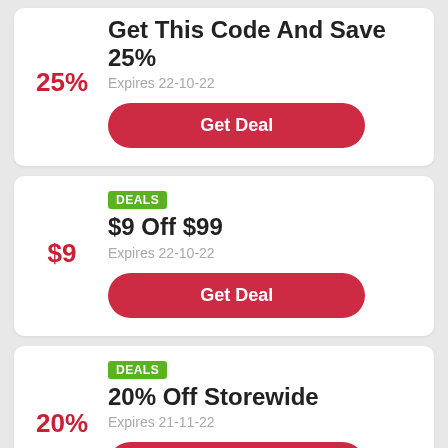Get This Code And Save 25%
Expires 22-10-22
Get Deal
DEALS
$9 Off $99
Expires 22-10-22
Get Deal
DEALS
20% Off Storewide
Expires 21-11-22
Get Deal